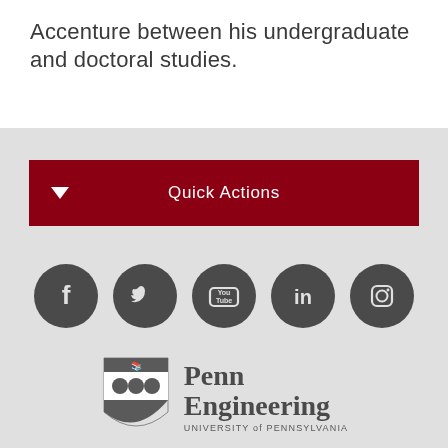Accenture between his undergraduate and doctoral studies.
Quick Actions
[Figure (infographic): Social media icons: Facebook, Twitter, YouTube, LinkedIn, Instagram — dark gray circles on light gray background]
[Figure (logo): Penn Engineering University of Pennsylvania shield logo with text]